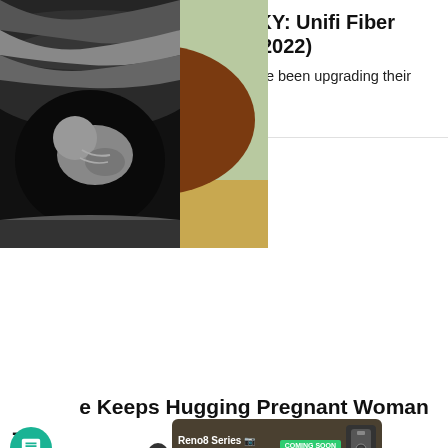Globe, PLDT, Converge, SKY: Unifi Fiber Internet Plans Compared (2022)
Internet providers in the Philippines have been upgrading their unlimited fiber internet plans in ...
Yuga Tech
[Figure (photo): Left: A woman with blonde hair in a bun hugging a brown horse outdoors. Right: An ultrasound image showing a fetus.]
Horse Keeps Hugging Pregnant Woman - When Doc... nd He...